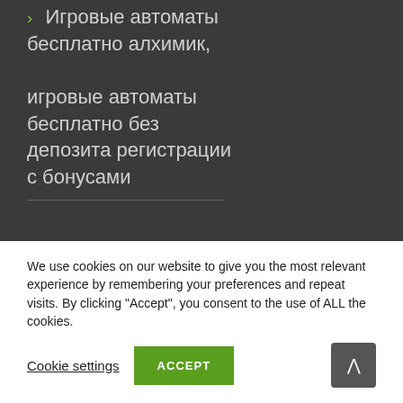Игровые автоматы бесплатно алхимик, игровые автоматы бесплатно без депозита регистрации с бонусами
We use cookies on our website to give you the most relevant experience by remembering your preferences and repeat visits. By clicking "Accept", you consent to the use of ALL the cookies.